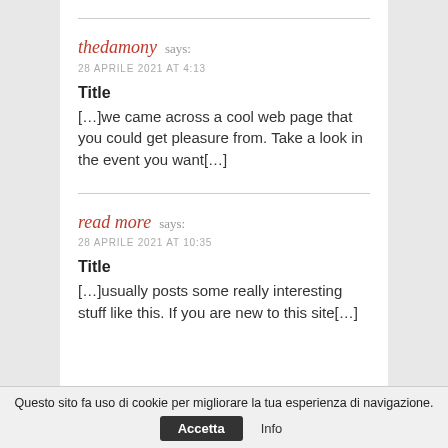thedamony says:
28 APRILE 2021 AT 4:13
Title
[…]we came across a cool web page that you could get pleasure from. Take a look in the event you want[…]
read more says:
28 APRILE 2021 AT 10:35
Title
[…]usually posts some really interesting stuff like this. If you are new to this site[…]
Questo sito fa uso di cookie per migliorare la tua esperienza di navigazione. Accetta  Info